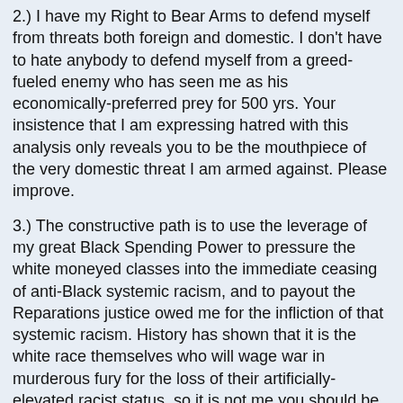2.) I have my Right to Bear Arms to defend myself from threats both foreign and domestic. I don't have to hate anybody to defend myself from a greed-fueled enemy who has seen me as his economically-preferred prey for 500 yrs. Your insistence that I am expressing hatred with this analysis only reveals you to be the mouthpiece of the very domestic threat I am armed against. Please improve.
3.) The constructive path is to use the leverage of my great Black Spending Power to pressure the white moneyed classes into the immediate ceasing of anti-Black systemic racism, and to payout the Reparations justice owed me for the infliction of that systemic racism. History has shown that it is the white race themselves who will wage war in murderous fury for the loss of their artificially-elevated racist status, so it is not me you should be pleading to keep calm. YOU keep calm.
4.) We can come together after the socio-political and economic inequalities based on racial phenotype are cured. The subjugation and exploitation of Black people by white people is the source of the conflict. The source of the conflict is NOT...